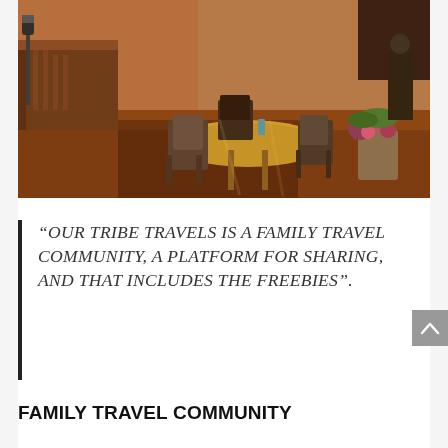[Figure (photo): Outdoor terrace or balcony with dining chairs around a table covered with an orange/yellow tablecloth, set for a meal with drinks, warm sunlight on terracotta-colored floor, plants and flowers in background, rustic building walls.]
“OUR TRIBE TRAVELS IS A FAMILY TRAVEL COMMUNITY, A PLATFORM FOR SHARING, AND THAT INCLUDES THE FREEBIES”.
FAMILY TRAVEL COMMUNITY